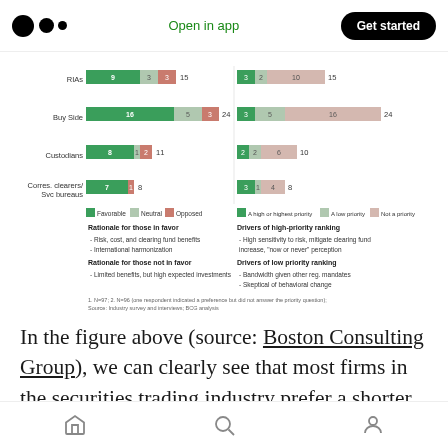Open in app | Get started
[Figure (stacked-bar-chart): Two stacked bar charts side by side. Left chart shows Favorable/Neutral/Opposed by firm type (RIAs, Buy Side, Custodians, Corres. clearers/Svc bureaus). Right chart shows priority ranking (A high or highest priority, A low priority, Not a priority) by firm type. Includes rationale bullets and footnotes.]
In the figure above (source: Boston Consulting Group), we can clearly see that most firms in the securities trading industry prefer a shorter settlement cycle. In 2012, most considered T+0 to be an unrealistic operating model. But now,
Home | Search | Profile